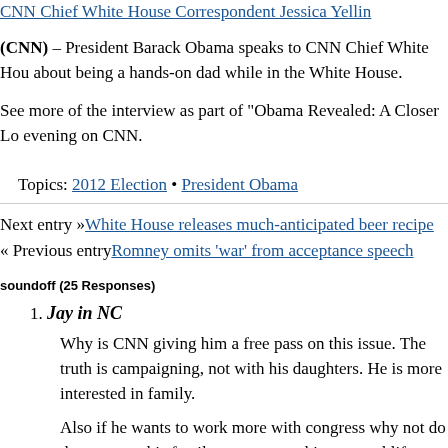CNN Chief White House Correspondent Jessica Yellin
(CNN) – President Barack Obama speaks to CNN Chief White House about being a hands-on dad while in the White House.
See more of the interview as part of "Obama Revealed: A Closer Lo... evening on CNN.
Topics: 2012 Election • President Obama
Next entry »White House releases much-anticipated beer recipe
« Previous entryRomney omits 'war' from acceptance speech
soundoff (25 Responses)
1. Jay in NC
Why is CNN giving him a free pass on this issue. The truth is campaigning, not with his daughters. He is more interested in family.
Also if he wants to work more with congress why not do that manage his family, congress or his personal life maybe he is n